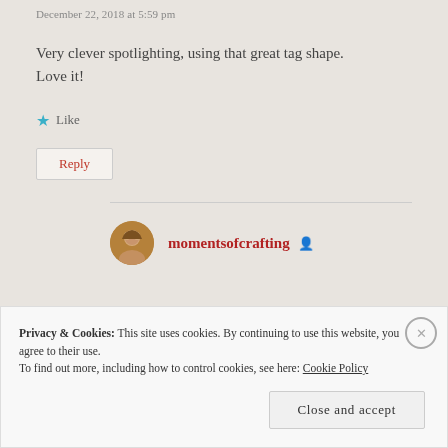December 22, 2018 at 5:59 pm
Very clever spotlighting, using that great tag shape. Love it!
Like
Reply
momentsofcrafting
Privacy & Cookies: This site uses cookies. By continuing to use this website, you agree to their use.
To find out more, including how to control cookies, see here: Cookie Policy
Close and accept